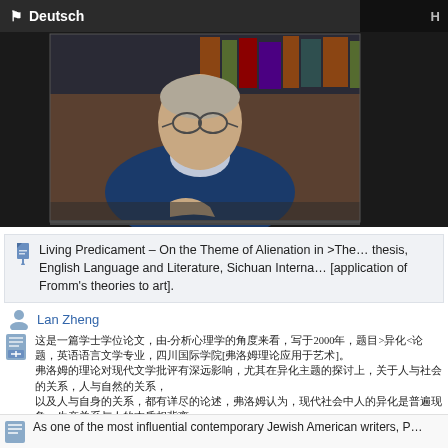🏴 Deutsch
[Figure (photo): Black and white photo of an elderly man with glasses, writing or reading at a desk with books behind him]
Living Predicament – On the Theme of Alienation in >The... thesis, English Language and Literature, Sichuan Interna... [application of Fromm's theories to art].
Lan Zheng
Chinese text block with academic commentary referencing 2000, and >...< notation. Multiple lines of Chinese characters discussing Fromm's theories.
As one of the most influential contemporary Jewish American writers, P...